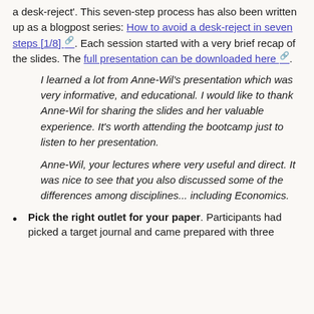a desk-reject'. This seven-step process has also been written up as a blogpost series: How to avoid a desk-reject in seven steps [1/8]. Each session started with a very brief recap of the slides. The full presentation can be downloaded here.
I learned a lot from Anne-Wil's presentation which was very informative, and educational. I would like to thank Anne-Wil for sharing the slides and her valuable experience. It's worth attending the bootcamp just to listen to her presentation.
Anne-Wil, your lectures where very useful and direct. It was nice to see that you also discussed some of the differences among disciplines... including Economics.
Pick the right outlet for your paper. Participants had picked a target journal and came prepared with three